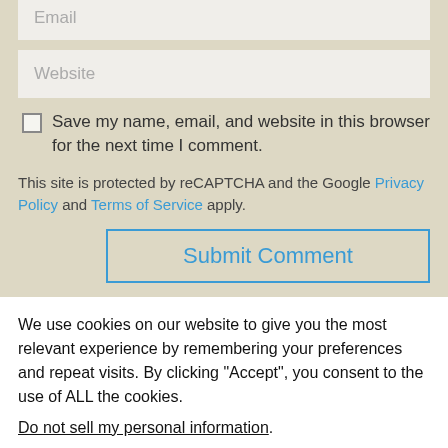Email
Website
Save my name, email, and website in this browser for the next time I comment.
This site is protected by reCAPTCHA and the Google Privacy Policy and Terms of Service apply.
Submit Comment
We use cookies on our website to give you the most relevant experience by remembering your preferences and repeat visits. By clicking “Accept”, you consent to the use of ALL the cookies.
Do not sell my personal information.
Cookie Settings
Accept